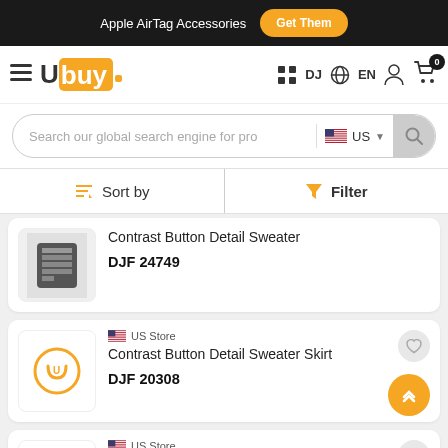Apple AirTag Accessories  Get Them
[Figure (logo): Ubuy logo with hamburger menu, DJ country selector, EN language, user icon, cart with 0 items]
Search our global search engine for pro  US
Sort by   Filter
Contrast Button Detail Sweater
DJF 24749
US Store
Contrast Button Detail Sweater Skirt
DJF 20308
US Store